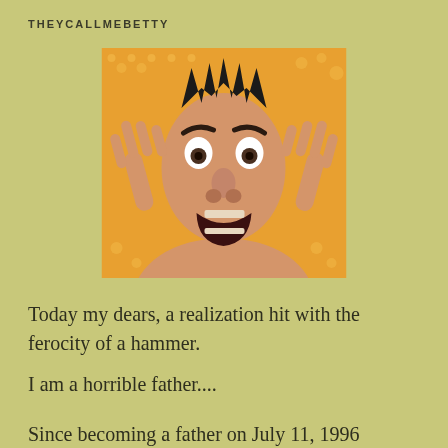THEYCALLMEBETTY
[Figure (photo): A man making an angry/exasperated face with hands raised claw-like near his face, against an orange halftone background]
Today my dears, a realization hit with the ferocity of a hammer.
I am a horrible father....
Since becoming a father on July 11, 1996 nothing has